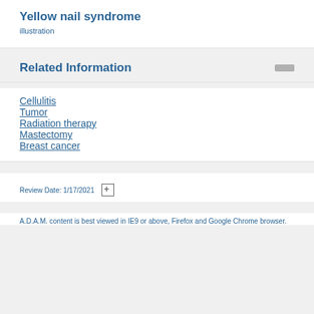Yellow nail syndrome
illustration
Related Information
Cellulitis
Tumor
Radiation therapy
Mastectomy
Breast cancer
Review Date: 1/17/2021
A.D.A.M. content is best viewed in IE9 or above, Firefox and Google Chrome browser.